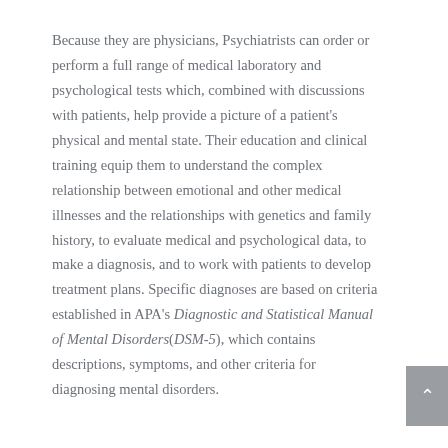Because they are physicians, Psychiatrists can order or perform a full range of medical laboratory and psychological tests which, combined with discussions with patients, help provide a picture of a patient's physical and mental state. Their education and clinical training equip them to understand the complex relationship between emotional and other medical illnesses and the relationships with genetics and family history, to evaluate medical and psychological data, to make a diagnosis, and to work with patients to develop treatment plans. Specific diagnoses are based on criteria established in APA's Diagnostic and Statistical Manual of Mental Disorders (DSM-5), which contains descriptions, symptoms, and other criteria for diagnosing mental disorders.